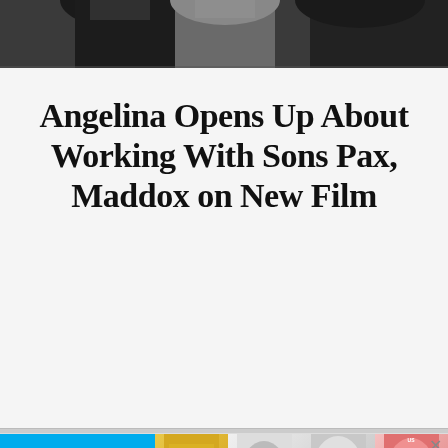[Figure (photo): Partial photo of people in formal/dark attire, cropped at the top of the page showing torsos and shoulders]
Angelina Opens Up About Working With Sons Pax, Maddox on New Film
[Figure (infographic): Advertisement banner: $1 AN ISSUE SUBSCRIBE NOW with Us Weekly magazine covers shown]